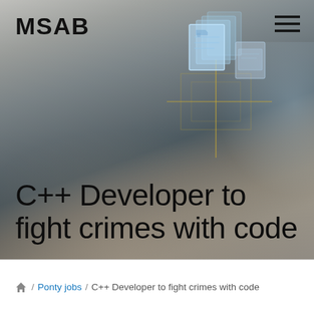[Figure (photo): Hero banner image showing a hand holding a smartphone with holographic digital document icons floating above, dark moody background with blue digital overlay effects. MSAB logo top left, hamburger menu icon top right. Large text overlay reads 'C++ Developer to fight crimes with code']
C++ Developer to fight crimes with code
🏠 / Ponty jobs / C++ Developer to fight crimes with code